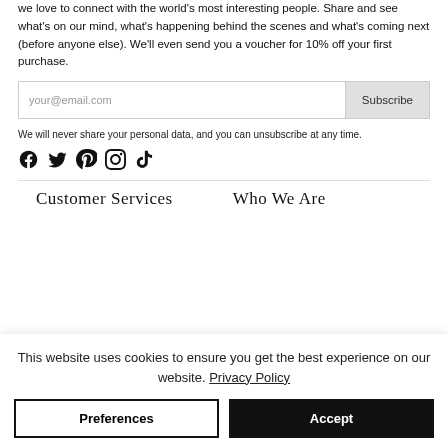We love to connect with the world's most interesting people. Share and see what's on our mind, what's happening behind the scenes and what's coming next (before anyone else). We'll even send you a voucher for 10% off your first purchase.
your@email.com [Subscribe]
We will never share your personal data, and you can unsubscribe at any time.
[Figure (infographic): Social media icons: Facebook, Twitter, Pinterest, Instagram, TikTok]
Customer Services
Who We Are
This website uses cookies to ensure you get the best experience on our website. Privacy Policy
Preferences | Accept